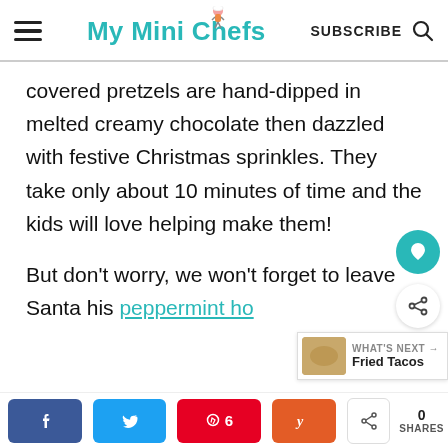My Mini Chefs | SUBSCRIBE
covered pretzels are hand-dipped in melted creamy chocolate then dazzled with festive Christmas sprinkles. They take only about 10 minutes of time and the kids will love helping make them!
But don't worry, we won't forget to leave Santa his peppermint ho[t cocoa]